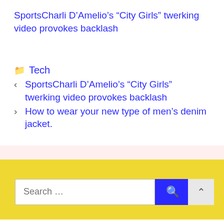SportsCharli D’Amelio’s “City Girls” twerking video provokes backlash
Tech
< SportsCharli D’Amelio’s “City Girls” twerking video provokes backlash
> How to wear your new type of men’s denim jacket.
Search ... [Search button] [Scroll to top button]